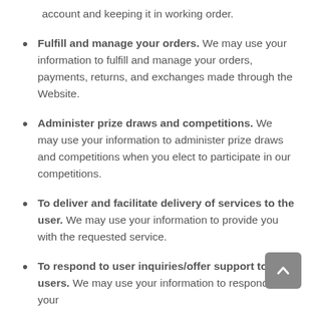account and keeping it in working order.
Fulfill and manage your orders. We may use your information to fulfill and manage your orders, payments, returns, and exchanges made through the Website.
Administer prize draws and competitions. We may use your information to administer prize draws and competitions when you elect to participate in our competitions.
To deliver and facilitate delivery of services to the user. We may use your information to provide you with the requested service.
To respond to user inquiries/offer support to users. We may use your information to respond to your